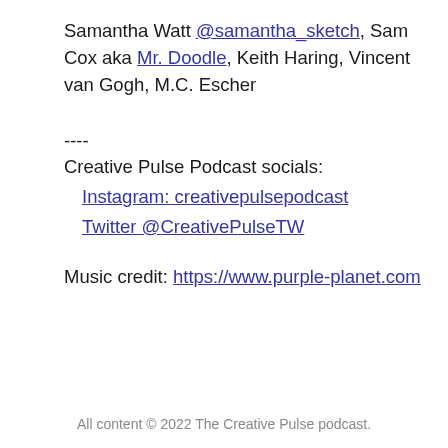Samantha Watt @samantha_sketch, Sam Cox aka Mr. Doodle, Keith Haring, Vincent van Gogh, M.C. Escher
----
Creative Pulse Podcast socials:
Instagram:  creativepulsepodcast
Twitter  @CreativePulseTW
Music credit: https://www.purple-planet.com
All content © 2022 The Creative Pulse podcast.